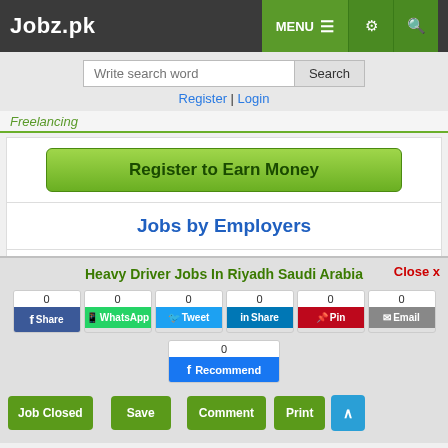Jobz.pk — MENU, settings, search icons
Write search word | Search | Register | Login
Freelancing
Register to Earn Money
Jobs by Employers
Prize Bond Schedule
Latest Job Videos
Heavy Driver Jobs In Riyadh Saudi Arabia
Social share buttons: Share 0, WhatsApp 0, Tweet 0, Share 0, Pin 0, Email 0, Recommend 0
Job Closed | Save | Comment | Print
Close x